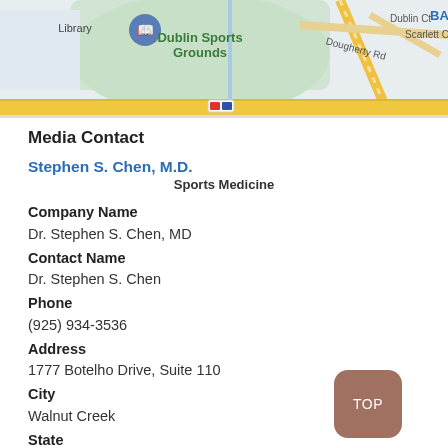[Figure (map): Google Maps screenshot showing Dublin Sports Grounds area with roads including Dublin Ct, Dougherty Rd, Scarlett Ct, and a Library marker. Roads shown in yellow/gold and map background in light colors.]
Media Contact
Stephen S. Chen, M.D.
Sports Medicine
Company Name
Dr. Stephen S. Chen, MD
Contact Name
Dr. Stephen S. Chen
Phone
(925) 934-3536
Address
1777 Botelho Drive, Suite 110
City
Walnut Creek
State
CA
Postal Code